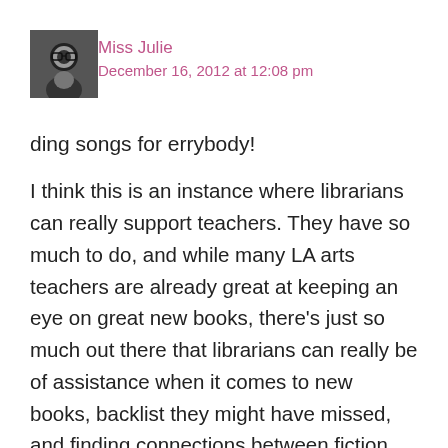[Figure (photo): Black and white avatar photo of Miss Julie, a person wearing glasses]
Miss Julie
December 16, 2012 at 12:08 pm
ding songs for errybody!
I think this is an instance where librarians can really support teachers. They have so much to do, and while many LA arts teachers are already great at keeping an eye on great new books, there's just so much out there that librarians can really be of assistance when it comes to new books, backlist they might have missed, and finding connections between fiction and non fiction. Plus, we can be their allies when it comes to defending choices to principals, administrations, and boards